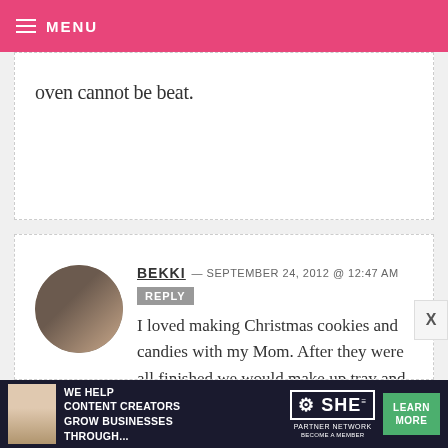MENU
oven cannot be beat.
BEKKI — SEPTEMBER 24, 2012 @ 12:47 AM REPLY
I loved making Christmas cookies and candies with my Mom. After they were all finished we would make up tray and drive around town delivering them to friends. Now that I have children of my own I love carrying on the same tradition. It's so much fun spending time together doing something for
[Figure (infographic): Ad banner: SHE Partner Network — We Help Content Creators Grow Businesses Through... Become a Member — Learn More button]